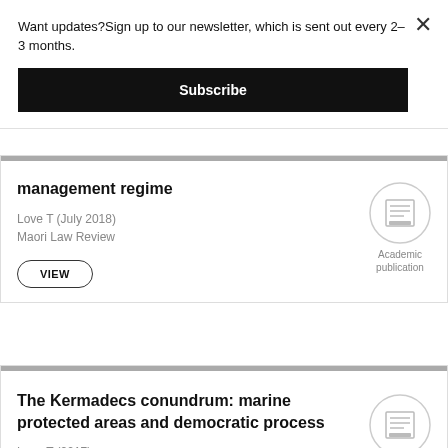Want updates?Sign up to our newsletter, which is sent out every 2–3 months.
Subscribe
management regime
Love T (July 2018)
Maori Law Review
VIEW
Academic publication
The Kermadecs conundrum: marine protected areas and democratic process
Love T (2017)
Policy Quarterly 13(2), 17
Academic publication